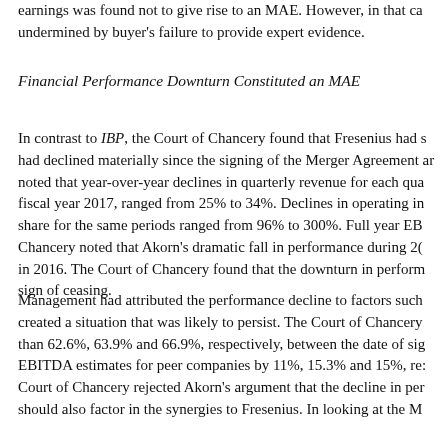earnings was found not to give rise to an MAE. However, in that case, the buyer's argument was undermined by buyer's failure to provide expert evidence.
Financial Performance Downturn Constituted an MAE
In contrast to IBP, the Court of Chancery found that Fresenius had shown that Akorn's business had declined materially since the signing of the Merger Agreement and that this decline was durable. The court noted that year-over-year declines in quarterly revenue for each quarter of fiscal year 2017, ranged from 25% to 34%. Declines in operating income per share for the same periods ranged from 96% to 300%. Full year EBITDA fell 86%. The Court of Chancery noted that Akorn's dramatic fall in performance during 2017 dwarfed even the decline in 2016. The Court of Chancery found that the downturn in performance showed no sign of ceasing.
Management had attributed the performance decline to factors such as pricing pressure that created a situation that was likely to persist. The Court of Chancery noted that Akorn's stock fell more than 62.6%, 63.9% and 66.9%, respectively, between the date of signing and the time of trial, while EBITDA estimates for peer companies by 11%, 15.3% and 15%, respectively. The Court of Chancery rejected Akorn's argument that the decline in performance was not an MAE and that Fresenius should also factor in the synergies to Fresenius. In looking at the MAE...